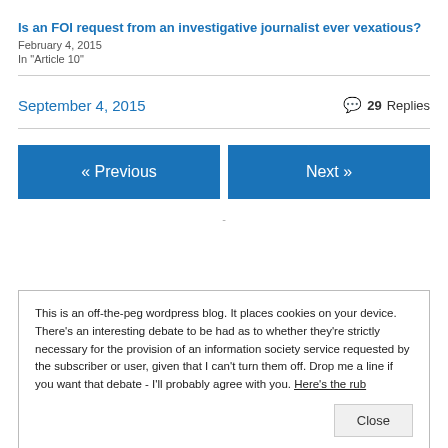Is an FOI request from an investigative journalist ever vexatious?
February 4, 2015
In "Article 10"
September 4, 2015
29 Replies
« Previous
Next »
This is an off-the-peg wordpress blog. It places cookies on your device. There's an interesting debate to be had as to whether they're strictly necessary for the provision of an information society service requested by the subscriber or user, given that I can't turn them off. Drop me a line if you want that debate - I'll probably agree with you. Here's the rub
Close